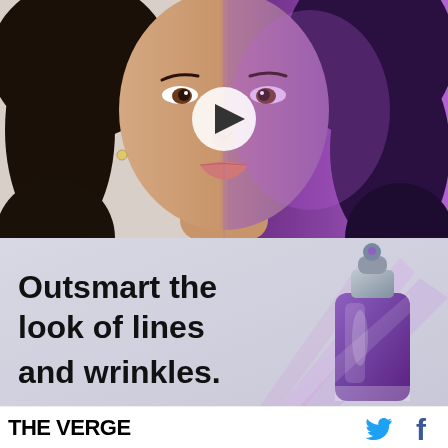[Figure (photo): Split-image advertisement showing a woman's face: left half in natural daylight, right half with purple/violet lighting effect. A white play button triangle is overlaid in the center of the image.]
[Figure (infographic): Advertisement banner with light gray-purple background showing text 'Outsmart the look of lines and wrinkles.' in large bold black font on the left, and a purple skincare serum bottle on the right with diagonal light beams.]
THE VERGE